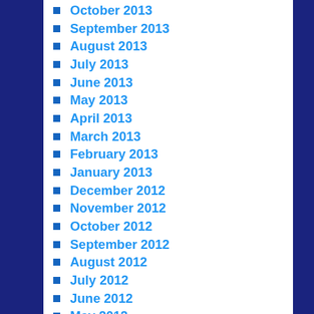October 2013
September 2013
August 2013
July 2013
June 2013
May 2013
April 2013
March 2013
February 2013
January 2013
December 2012
November 2012
October 2012
September 2012
August 2012
July 2012
June 2012
May 2012
April 2012
March 2012
February 2012
January 2012